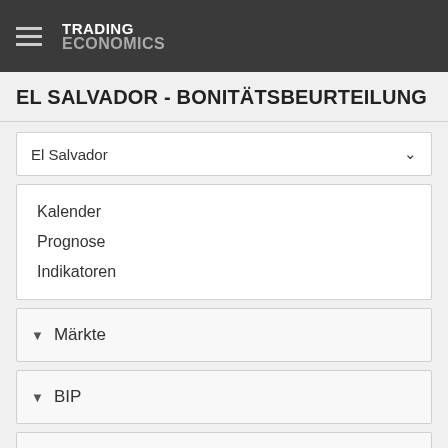TRADING ECONOMICS
EL SALVADOR - BONITÄTSBEURTEILUNG
El Salvador
Kalender
Prognose
Indikatoren
Märkte
BIP
Arbeit
Preise